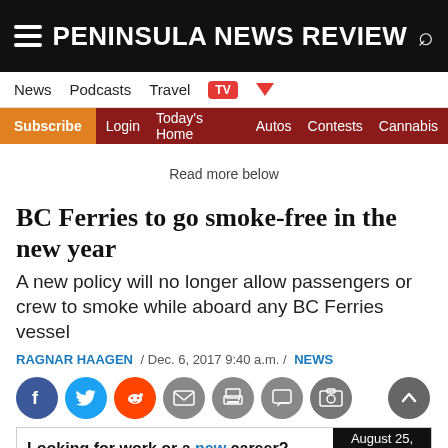PENINSULA NEWS REVIEW
News  Podcasts  Travel  TV
Subscribe  Login  Today's Home  Autos  Contests  Cannabis
Read more below
BC Ferries to go smoke-free in the new year
A new policy will no longer allow passengers or crew to smoke while aboard any BC Ferries vessel
RAGNAR HAAGEN / Dec. 6, 2017 9:40 a.m. / NEWS
[Figure (infographic): Social media sharing icons: Facebook, Twitter, Reddit, Email, Print, Comment, Photo; scroll-to-top button]
[Figure (infographic): Advertisement banner: Looking for work or a new career? August 25, 11AM-3PM. Featuring 25+ Exhibitors and Growing! CLICK HERE]